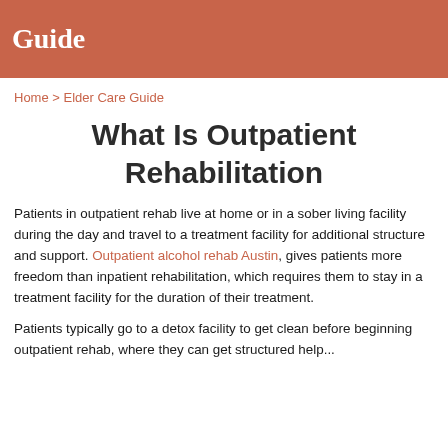Guide
Home > Elder Care Guide
What Is Outpatient Rehabilitation
Patients in outpatient rehab live at home or in a sober living facility during the day and travel to a treatment facility for additional structure and support. Outpatient alcohol rehab Austin, gives patients more freedom than inpatient rehabilitation, which requires them to stay in a treatment facility for the duration of their treatment.
Patients typically go to a detox facility to get clean before beginning outpatient rehab, where they can get structured help...